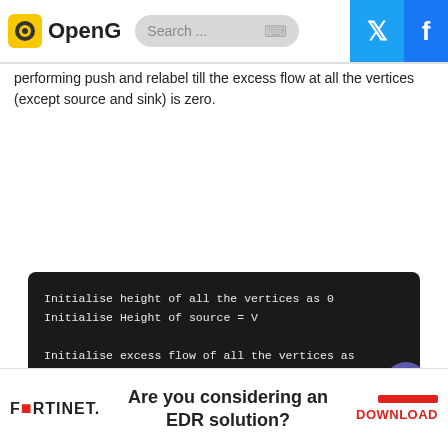OpenG | Search ...
performing push and relabel till the excess flow at all the vertices (except source and sink) is zero.
[Figure (screenshot): Code block on dark background showing pseudocode for push-relabel algorithm: Initialise height of all the vertices as 0, Initialise Height of source = V, Initialise excess flow of all the vertices as, For all neighbouring vertices of source node: Flow and excess flow = capacity of the co, While there is a vertex with excess flow: Perform push or relabel, t the end all the vertices should have 0 exc, turn maximum flow]
Are you considering an EDR solution? DOWNLOAD — Fortinet advertisement